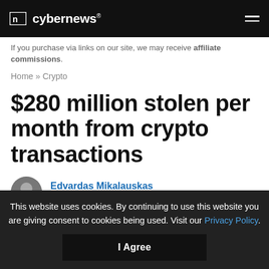cybernews®
If you purchase via links on our site, we may receive affiliate commissions.
Home » Crypto
$280 million stolen per month from crypto transactions
Edvardas Mikalauskas
Updated on: 28 September 2021  💬 3
This website uses cookies. By continuing to use this website you are giving consent to cookies being used. Visit our Privacy Policy.